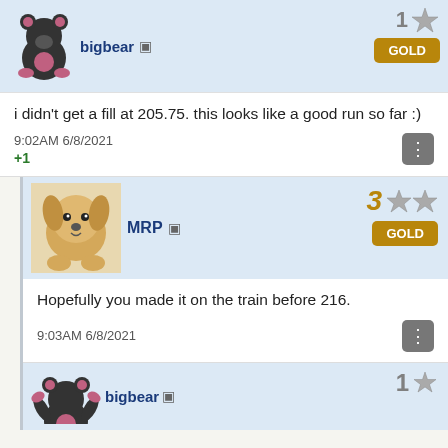[Figure (screenshot): bigbear user avatar - cartoon bear figure in light blue header with GOLD badge and star/rank indicators]
i didn't get a fill at 205.75. this looks like a good run so far :)
9:02AM 6/8/2021
+1
[Figure (screenshot): MRP user avatar - photo of golden retriever puppy in light blue header with rank 3, two stars, and GOLD badge]
Hopefully you made it on the train before 216.
9:03AM 6/8/2021
[Figure (screenshot): bigbear user avatar partially visible at bottom - cartoon bear with rank 1 and star]